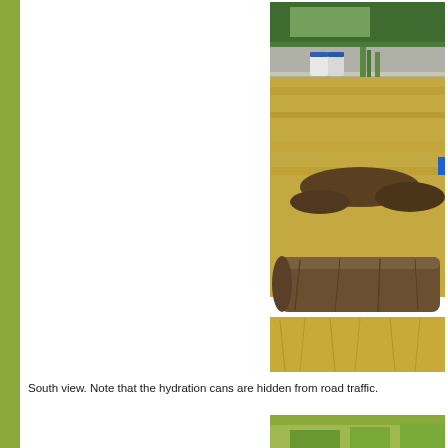[Figure (photo): South view outdoor photo showing dry golden grass field with a large weathered log in the foreground, two white hydration cans visible near a road/fence in the background, green trees beyond, and a small blue marker visible to the right]
South view.  Note that the hydration cans are hidden from road traffic.
[Figure (photo): Partial photo at bottom of page showing beginning of another outdoor view with green grass/field, cropped]